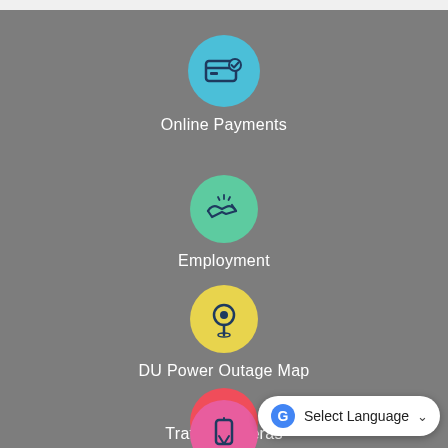[Figure (infographic): Blue circle icon with credit card and checkmark representing Online Payments]
Online Payments
[Figure (infographic): Green circle icon with handshake representing Employment]
Employment
[Figure (infographic): Yellow circle icon with map pin/location marker representing DU Power Outage Map]
DU Power Outage Map
[Figure (infographic): Red circle icon with security camera representing Traffic Cameras]
Traffic Cameras
[Figure (infographic): Partially visible pink circle icon at bottom of page]
Select Language